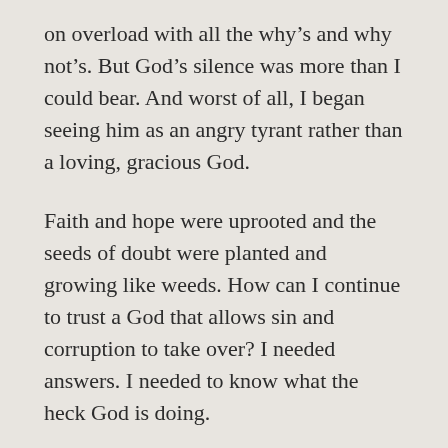on overload with all the why's and why not's. But God's silence was more than I could bear. And worst of all, I began seeing him as an angry tyrant rather than a loving, gracious God.
Faith and hope were uprooted and the seeds of doubt were planted and growing like weeds. How can I continue to trust a God that allows sin and corruption to take over? I needed answers. I needed to know what the heck God is doing.
Finally, God tells my troubled, pondering heart to calm down and that I don't need to know the answers; I just need to trust that He is in complete control of the world and everything